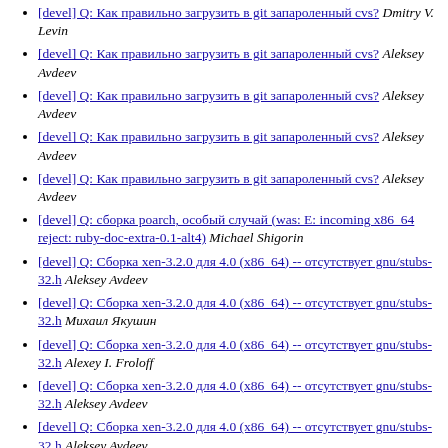[devel] Q: Как правильно загрузить в git запароленный cvs? Dmitry V. Levin
[devel] Q: Как правильно загрузить в git запароленный cvs? Aleksey Avdeev
[devel] Q: Как правильно загрузить в git запароленный cvs? Aleksey Avdeev
[devel] Q: Как правильно загрузить в git запароленный cvs? Aleksey Avdeev
[devel] Q: Как правильно загрузить в git запароленный cvs? Aleksey Avdeev
[devel] Q: сборка poarch, особый случай (was: E: incoming x86_64 reject: ruby-doc-extra-0.1-alt4) Michael Shigorin
[devel] Q: Сборка xen-3.2.0 для 4.0 (x86_64) -- отсутствует gnu/stubs-32.h Aleksey Avdeev
[devel] Q: Сборка xen-3.2.0 для 4.0 (x86_64) -- отсутствует gnu/stubs-32.h Михаил Якушин
[devel] Q: Сборка xen-3.2.0 для 4.0 (x86_64) -- отсутствует gnu/stubs-32.h Alexey I. Froloff
[devel] Q: Сборка xen-3.2.0 для 4.0 (x86_64) -- отсутствует gnu/stubs-32.h Aleksey Avdeev
[devel] Q: Сборка xen-3.2.0 для 4.0 (x86_64) -- отсутствует gnu/stubs-32.h Aleksey Avdeev
[devel] Q: Сборка xen-3.2.0 для 4.0 (x86_64) -- отсутствует gnu/stubs-32.h Alexey I. Froloff
[devel] qemu for testing Michael Shigorin